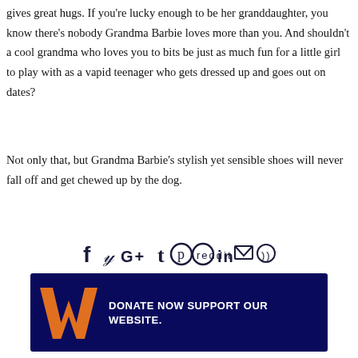gives great hugs. If you're lucky enough to be her granddaughter, you know there's nobody Grandma Barbie loves more than you. And shouldn't a cool grandma who loves you to bits be just as much fun for a little girl to play with as a vapid teenager who gets dressed up and goes out on dates?
Not only that, but Grandma Barbie's stylish yet sensible shoes will never fall off and get chewed up by the dog.
[Figure (infographic): Social media share icons: Facebook, Twitter, Google+, Tumblr, Pinterest, Reddit, LinkedIn, Email, RSS]
[Figure (infographic): Donation banner with orange W logo on dark navy background. Text: DONATE NOW SUPPORT OUR WEBSITE. Dropdown: Choose your donation]